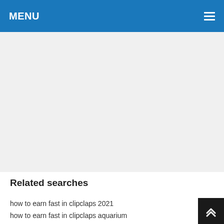MENU
[Figure (other): Advertisement / blank content area]
Related searches
how to earn fast in clipclaps 2021
how to earn fast in clipclaps aquarium